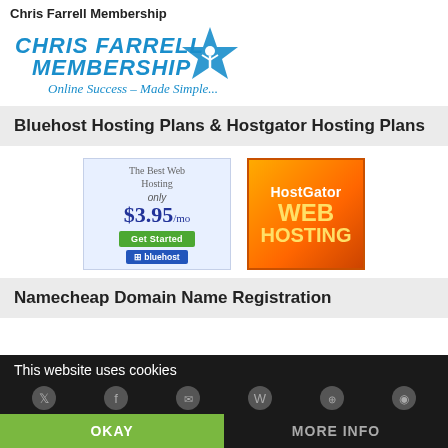Chris Farrell Membership
[Figure (logo): Chris Farrell Membership logo - blue stylized text with star and figure icon, tagline: Online Success - Made Simple...]
Bluehost Hosting Plans & Hostgator Hosting Plans
[Figure (infographic): Bluehost ad: The Best Web Hosting, only $3.95/mo, Get Started button, bluehost logo bar]
[Figure (infographic): HostGator Web Hosting orange/yellow banner ad]
Namecheap Domain Name Registration
This website uses cookies
OKAY
MORE INFO